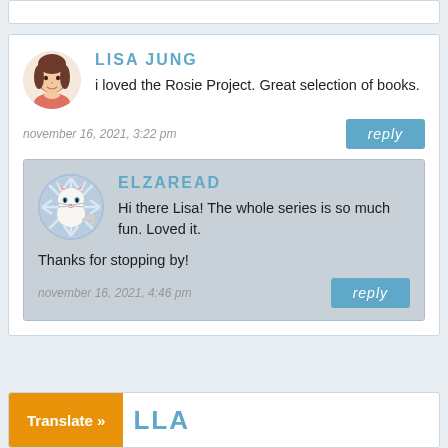LISA JUNG
i loved the Rosie Project. Great selection of books.
november 16, 2021, 3:22 pm
reply
ELZAREAD
Hi there Lisa! The whole series is so much fun. Loved it.
Thanks for stopping by!
november 16, 2021, 4:46 pm
reply
Translate »
LLA